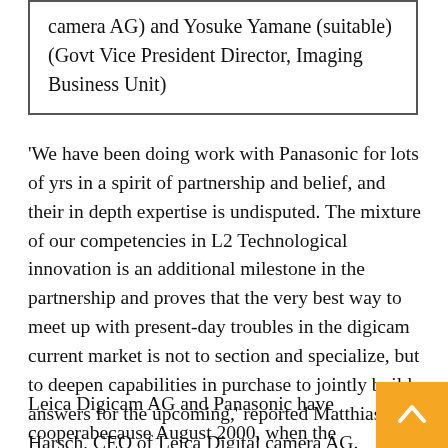camera AG) and Yosuke Yamane (suitable) (Govt Vice President Director, Imaging Business Unit)
'We have been doing work with Panasonic for lots of yrs in a spirit of partnership and belief, and their in depth expertise is undisputed. The mixture of our competencies in L2 Technological innovation is an additional milestone in the partnership and proves that the very best way to meet up with present-day troubles in the digicam current market is not to section and specialize, but to deepen capabilities in purchase to jointly build answers for the upcoming,' reported Matthias Harsch, CEO of Leica Digital camera AG.
Leica Digicam AG and Panasonic have coopera... because August 2000, when the providers signed an